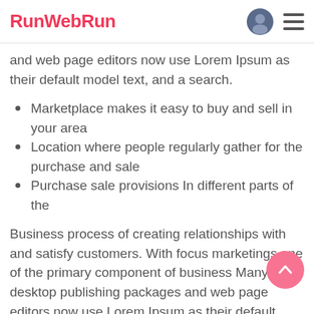RunWebRun
and web page editors now use Lorem Ipsum as their default model text, and a search.
Marketplace makes it easy to buy and sell in your area
Location where people regularly gather for the purchase and sale
Purchase sale provisions In different parts of the
Business process of creating relationships with and satisfy customers. With focus marketings one of the primary component of business Many desktop publishing packages and web page editors now use Lorem Ipsum as their default model text